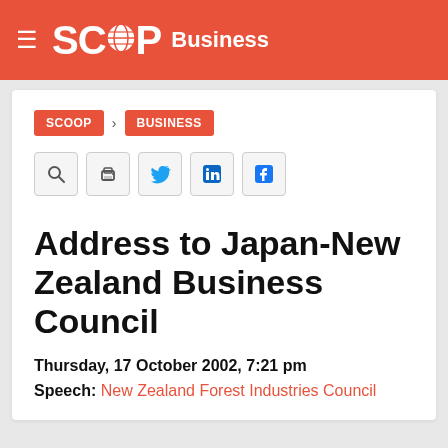SCOOP Business
SCOOP > BUSINESS
Address to Japan-New Zealand Business Council
Thursday, 17 October 2002, 7:21 pm
Speech: New Zealand Forest Industries Council